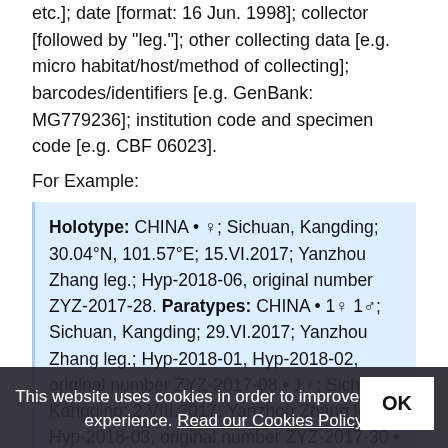etc.]; date [format: 16 Jun. 1998]; collector [followed by "leg."]; other collecting data [e.g. micro habitat/host/method of collecting]; barcodes/identifiers [e.g. GenBank: MG779236]; institution code and specimen code [e.g. CBF 06023].
For Example:
Holotype: CHINA • ♀; Sichuan, Kangding; 30.04°N, 101.57°E; 15.VI.2017; Yanzhou Zhang leg.; Hyp-2018-06, original number ZYZ-2017-28. Paratypes: CHINA • 1♀ 1♂; Sichuan, Kangding; 29.VI.2017; Yanzhou Zhang leg.; Hyp-2018-01, Hyp-2018-02, original number ZYZ-2017-08 • 1♀; Sichuan, Kangding; 2.VIII.2017; Yanzhou Zhang leg.; Hyp-2018-03, original number ZYZ-2017-30 • 1♀ Sichuan, Kangding; Yanzhou Zhang leg.; Hyp-2018-08, original number ZYZ-2017-029.
This website uses cookies in order to improve your web experience. Read our Cookies Policy